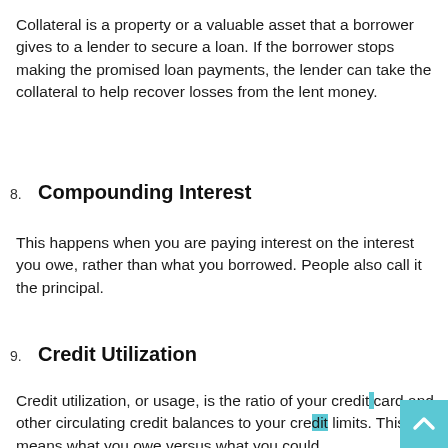Collateral is a property or a valuable asset that a borrower gives to a lender to secure a loan. If the borrower stops making the promised loan payments, the lender can take the collateral to help recover losses from the lent money.
8. Compounding Interest
This happens when you are paying interest on the interest you owe, rather than what you borrowed. People also call it the principal.
9. Credit Utilization
Credit utilization, or usage, is the ratio of your credit card and other circulating credit balances to your credit limits. This means what you owe versus what you could